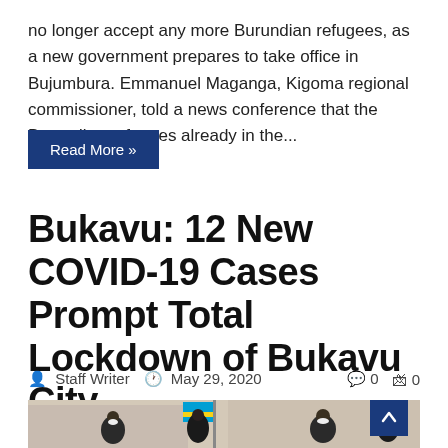no longer accept any more Burundian refugees, as a new government prepares to take office in Bujumbura. Emmanuel Maganga, Kigoma regional commissioner, told a news conference that the Burundian refugees already in the...
Read More »
Bukavu: 12 New COVID-19 Cases Prompt Total Lockdown of Bukavu City
Staff Writer   May 29, 2020   0   0
[Figure (photo): Outdoor photo showing officials in masks standing outside a building with a blue and yellow flag in the background]